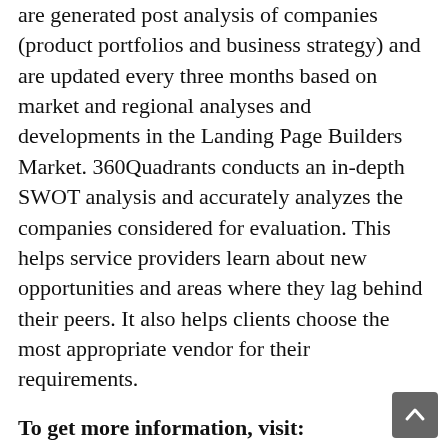are generated post analysis of companies (product portfolios and business strategy) and are updated every three months based on market and regional analyses and developments in the Landing Page Builders Market. 360Quadrants conducts an in-depth SWOT analysis and accurately analyzes the companies considered for evaluation. This helps service providers learn about new opportunities and areas where they lag behind their peers. It also helps clients choose the most appropriate vendor for their requirements.
To get more information, visit: www.360quadrants.com/press-release/360quadrants-releases-quadrant-on-best-landing-page-builders